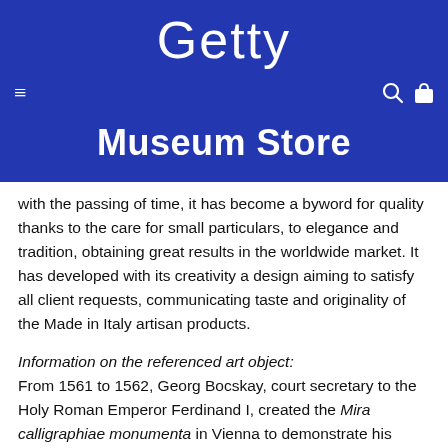Getty
Museum Store
with the passing of time, it has become a byword for quality thanks to the care for small particulars, to elegance and tradition, obtaining great results in the worldwide market. It has developed with its creativity a design aiming to satisfy all client requests, communicating taste and originality of the Made in Italy artisan products.
Information on the referenced art object:
From 1561 to 1562, Georg Bocskay, court secretary to the Holy Roman Emperor Ferdinand I, created the Mira calligraphiae monumenta in Vienna to demonstrate his technical mastery of the immense range of writing styles known to him. About thirty years later, Emperor Rudolph II, Ferdinand's grandson, commissioned Joris Hoefnagel to illuminate Bocskay's model book. Hoefnagel added fruit,